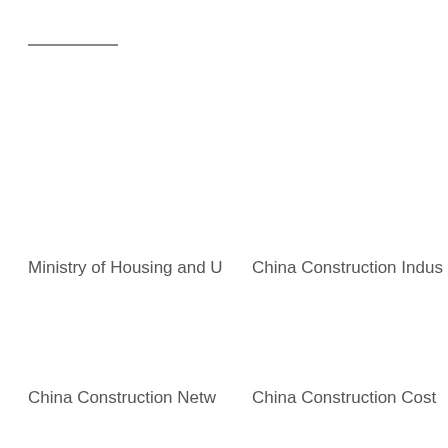Ministry of Housing and U
China Construction Indus
China Construction Netw
China Construction Cost